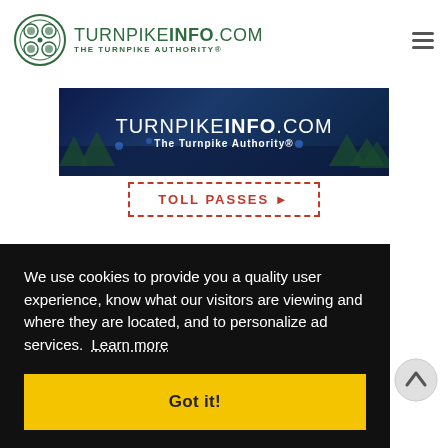TURNPIKEINFO.COM THE TURNPIKE AUTHORITY®
[Figure (screenshot): TurnpikeInfo.com banner ad with dark blue background showing 'TURNPIKEINFO.COM The Turnpike Authority®' text in white]
TOLL PASSES ▶
We use cookies to provide you a quality user experience, know what our visitors are viewing and where they are located, and to personalize ad services. Learn more
Got it!